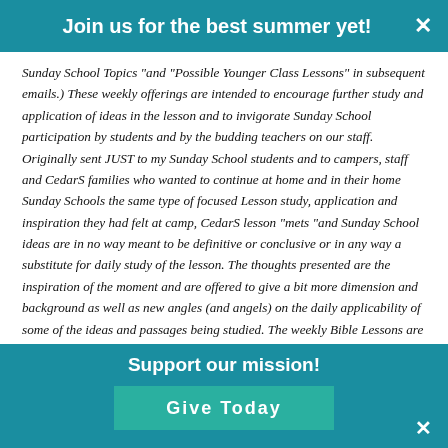Join us for the best summer yet!
Sunday School Topics "and "Possible Younger Class Lessons" in subsequent emails.) These weekly offerings are intended to encourage further study and application of ideas in the lesson and to invigorate Sunday School participation by students and by the budding teachers on our staff. Originally sent JUST to my Sunday School students and to campers, staff and CedarS families who wanted to continue at home and in their home Sunday Schools the same type of focused Lesson study, application and inspiration they had felt at camp, CedarS lesson "mets "and Sunday School ideas are in no way meant to be definitive or conclusive or in any way a substitute for daily study of the lesson. The thoughts presented are the inspiration of the moment and are offered to give a bit more dimension and background as well as new angles (and angels) on the daily applicability of some of the ideas and passages being studied. The weekly Bible Lessons are copyrighted by the Christian Science Publishing Society and are printed in the Christian Science Quarterly as available at Christian Science Reading Rooms or online at eBibleLesson.com or myBibleLesson.com. The citations referenced (i.e.B-1 and S-28) from this week's Bible Lesson in the "Met" (Metaphysical application ideas) are
Support our mission!
Give Today